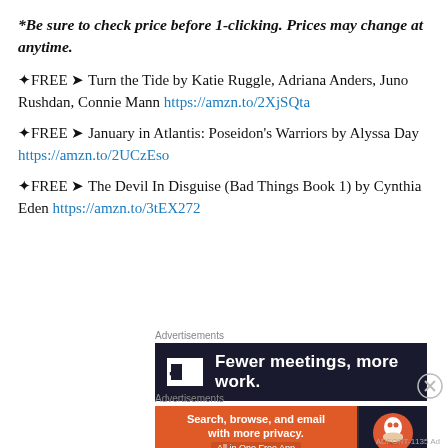*Be sure to check price before 1-clicking. Prices may change at anytime.
✦FREE ➤ Turn the Tide by Katie Ruggle, Adriana Anders, Juno Rushdan, Connie Mann https://amzn.to/2XjSQta
✦FREE ➤ January in Atlantis: Poseidon's Warriors by Alyssa Day https://amzn.to/2UCzEso
✦FREE ➤ The Devil In Disguise (Bad Things Book 1) by Cynthia Eden https://amzn.to/3tEX272
Advertisements
[Figure (screenshot): Dark advertisement banner for Flat2 app: logo square with '2' and text 'Fewer meetings, more work.']
Advertisements
[Figure (screenshot): DuckDuckGo advertisement: orange section with text 'Search, browse, and email with more privacy. All in One Free App' and DuckDuckGo duck logo on dark background.]